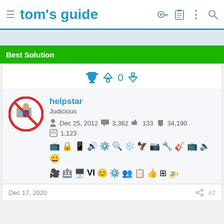tom's guide
Best Solution
[Figure (screenshot): User profile card for 'helpstar' with vote controls, avatar, username, title 'Judicious', stats (Dec 25 2012, 3,362 posts, 133 likes, 34,190 points, 1,123 solutions), and category badge icons]
Dec 17, 2020  #2